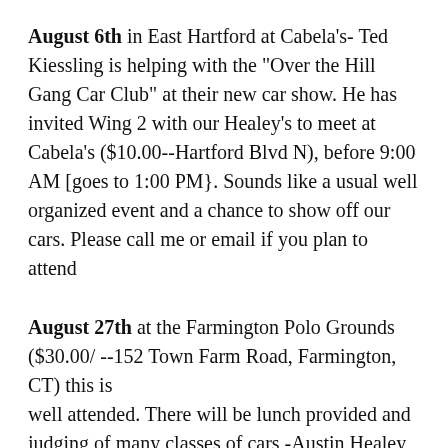August 6th in East Hartford at Cabela's- Ted Kiessling is helping with the "Over the Hill Gang Car Club" at their new car show. He has invited Wing 2 with our Healey's to meet at Cabela's ($10.00--Hartford Blvd N), before 9:00 AM [goes to 1:00 PM}. Sounds like a usual well organized event and a chance to show off our cars. Please call me or email if you plan to attend
August 27th at the Farmington Polo Grounds ($30.00/ --152 Town Farm Road, Farmington, CT) this is well attended. There will be lunch provided and judging of many classes of cars -Austin Healey [British] will be one of many exotic and expensive